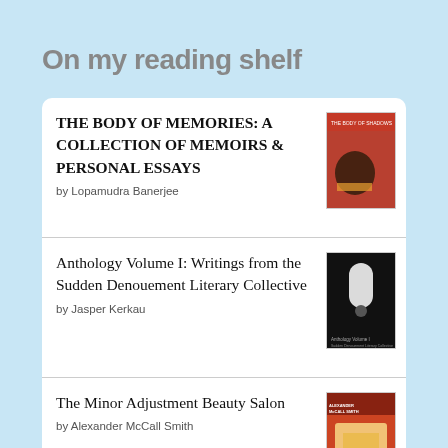On my reading shelf
THE BODY OF MEMORIES: A COLLECTION OF MEMOIRS & PERSONAL ESSAYS by Lopamudra Banerjee
Anthology Volume I: Writings from the Sudden Denouement Literary Collective by Jasper Kerkau
The Minor Adjustment Beauty Salon by Alexander McCall Smith
Trains and Lovers